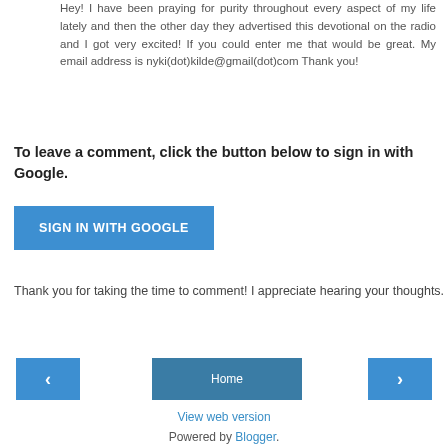Hey! I have been praying for purity throughout every aspect of my life lately and then the other day they advertised this devotional on the radio and I got very excited! If you could enter me that would be great. My email address is nyki(dot)kilde@gmail(dot)com Thank you!
Reply
To leave a comment, click the button below to sign in with Google.
SIGN IN WITH GOOGLE
Thank you for taking the time to comment! I appreciate hearing your thoughts.
‹
Home
›
View web version
Powered by Blogger.